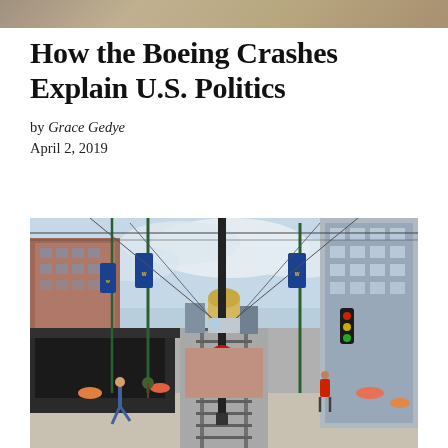[Figure (photo): Cropped top portion of an image, showing muted brownish tones, likely the top of the header image]
How the Boeing Crashes Explain U.S. Politics
by Grace Gedye
April 2, 2019
[Figure (photo): Street-level photograph of an urban downtown area with light rail tracks running down the center of the street, tram wires overhead, blue and gold banners on lampposts reading 'Welcome', brick and glass buildings on both sides, a pedestrian crossing the street on the left, traffic signals visible on the right, a person in a red jacket on the right sidewalk, and a tram visible in the distant background.]